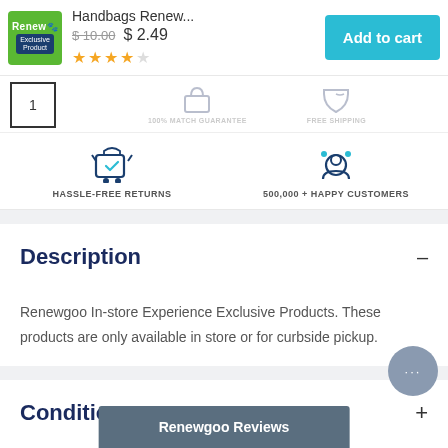[Figure (screenshot): Product listing header for Handbags Renew... with logo, price $2.49 (was $10.00), star rating, and Add to cart button]
Handbags Renew...
$10.00  $2.49
[Figure (other): Thumbnail image placeholder showing number 1]
[Figure (infographic): Feature icons: HASSLE-FREE RETURNS and 500,000+ HAPPY CUSTOMERS]
Description
Renewgoo In-store Experience Exclusive Products. These products are only available in store or for curbside pickup.
Conditions
Renewgoo Reviews